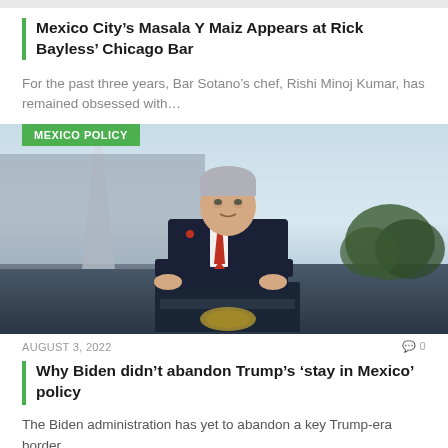Mexico City’s Masala Y Maiz Appears at Rick Bayless’ Chicago Bar
For the past three years, Bar Sotano’s chef, Rishi Minoj Kumar, has remained obsessed with…
[Figure (photo): Biden speaking at a podium outdoors with the Washington Monument in the background. Green category badge reading MEXICO POLICY overlaid at top left.]
AUGUST 3, 2022
Why Biden didn’t abandon Trump’s ‘stay in Mexico’ policy
The Biden administration has yet to abandon a key Trump-era border